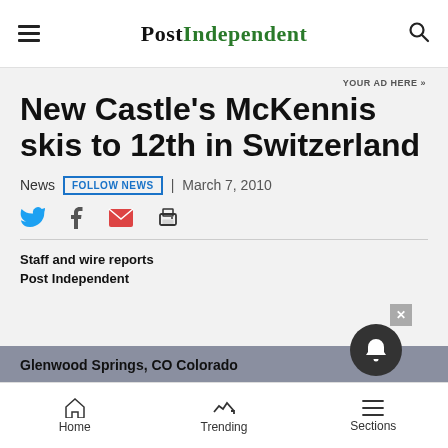POST INDEPENDENT
YOUR AD HERE »
New Castle's McKennis skis to 12th in Switzerland
News  FOLLOW NEWS  | March 7, 2010
Staff and wire reports
Post Independent
Glenwood Springs, CO Colorado
Home  Trending  Sections